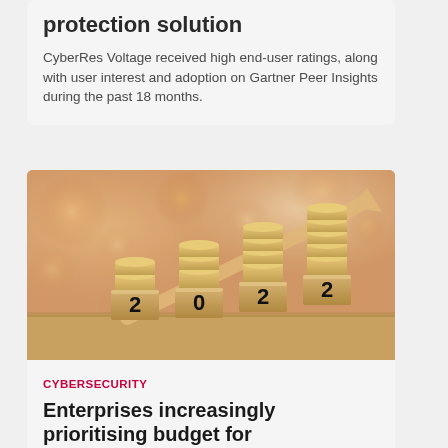protection solution
CyberRes Voltage received high end-user ratings, along with user interest and adoption on Gartner Peer Insights during the past 18 months.
[Figure (photo): Photo of wooden blocks spelling 2022 with stacks of coins on top of each block and an upward-trending arrow, suggesting financial growth in 2022, with a blurred warm bokeh background.]
CYBERSECURITY
Enterprises increasingly prioritising budget for cybersecurity